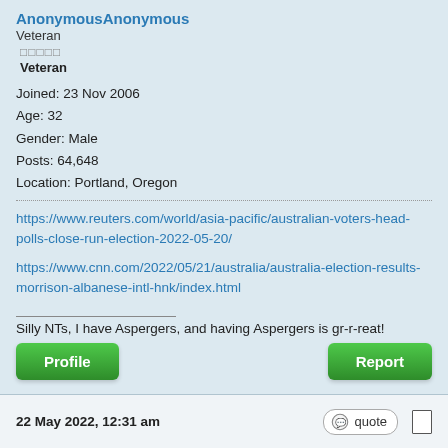AnonymousAnonymous
Veteran
□□□□□
Veteran
Joined: 23 Nov 2006
Age: 32
Gender: Male
Posts: 64,648
Location: Portland, Oregon
https://www.reuters.com/world/asia-pacific/australian-voters-head-polls-close-run-election-2022-05-20/
https://www.cnn.com/2022/05/21/australia/australia-election-results-morrison-albanese-intl-hnk/index.html
Silly NTs, I have Aspergers, and having Aspergers is gr-r-reat!
Profile
Report
22 May 2022, 12:31 am